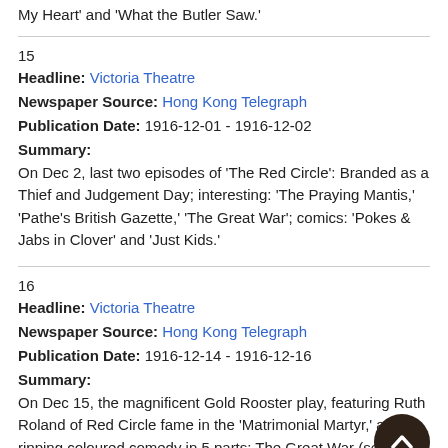My Heart' and 'What the Butler Saw.'
15
Headline: Victoria Theatre
Newspaper Source: Hong Kong Telegraph
Publication Date: 1916-12-01 - 1916-12-02
Summary:
On Dec 2, last two episodes of 'The Red Circle': Branded as a Thief and Judgement Day; interesting: 'The Praying Mantis,' 'Pathe's British Gazette,' 'The Great War'; comics: 'Pokes & Jabs in Clover' and 'Just Kids.'
16
Headline: Victoria Theatre
Newspaper Source: Hong Kong Telegraph
Publication Date: 1916-12-14 - 1916-12-16
Summary:
On Dec 15, the magnificent Gold Rooster play, featuring Ruth Roland of Red Circle fame in the 'Matrimonial Martyr,' a ripping coloured comedy in 5 parts; The Great War (series D.5); 'Chasing